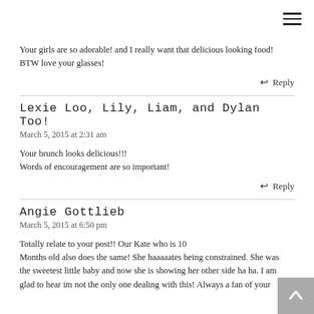Your girls are so adorable! and I really want that delicious looking food! BTW love your glasses!
↩ Reply
Lexie Loo, Lily, Liam, and Dylan Too!
March 5, 2015 at 2:31 am
Your brunch looks delicious!!!
Words of encouragement are so important!
↩ Reply
Angie Gottlieb
March 5, 2015 at 6:50 pm
Totally relate to your post!! Our Kate who is 10
Months old also does the same! She haaaaates being constrained. She was the sweetest little baby and now she is showing her other side ha ha. I am glad to hear im not the only one dealing with this! Always a fan of your